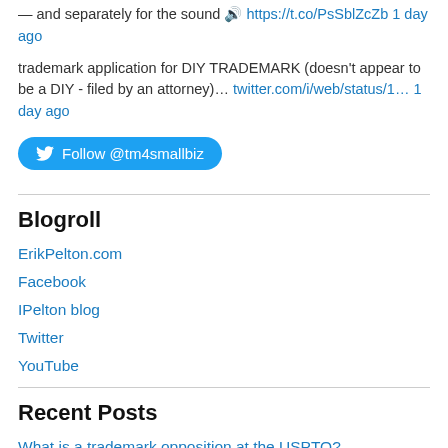— and separately for the sound https://t.co/PsSblZcZb 1 day ago
trademark application for DIY TRADEMARK (doesn't appear to be a DIY - filed by an attorney)… twitter.com/i/web/status/1… 1 day ago
Follow @tm4smallbiz
Blogroll
ErikPelton.com
Facebook
IPelton blog
Twitter
YouTube
Recent Posts
What is a trademark opposition at the USPTO?
What to expect at a TTAB hearing